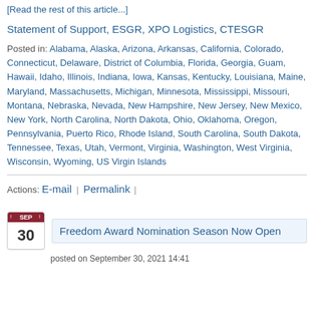[Read the rest of this article...]
Statement of Support, ESGR, XPO Logistics, CTESGR
Posted in: Alabama, Alaska, Arizona, Arkansas, California, Colorado, Connecticut, Delaware, District of Columbia, Florida, Georgia, Guam, Hawaii, Idaho, Illinois, Indiana, Iowa, Kansas, Kentucky, Louisiana, Maine, Maryland, Massachusetts, Michigan, Minnesota, Mississippi, Missouri, Montana, Nebraska, Nevada, New Hampshire, New Jersey, New Mexico, New York, North Carolina, North Dakota, Ohio, Oklahoma, Oregon, Pennsylvania, Puerto Rico, Rhode Island, South Carolina, South Dakota, Tennessee, Texas, Utah, Vermont, Virginia, Washington, West Virginia, Wisconsin, Wyoming, US Virgin Islands
Actions: E-mail | Permalink |
Freedom Award Nomination Season Now Open
posted on September 30, 2021 14:41